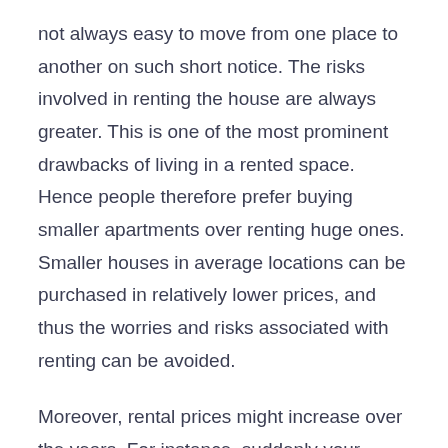not always easy to move from one place to another on such short notice. The risks involved in renting the house are always greater. This is one of the most prominent drawbacks of living in a rented space. Hence people therefore prefer buying smaller apartments over renting huge ones. Smaller houses in average locations can be purchased in relatively lower prices, and thus the worries and risks associated with renting can be avoided.
Moreover, rental prices might increase over the years. For instance, suddenly your landlord increases the monthly rent. You might not be able to afford that increase in rates, and thus you might be forced to move out. It is also important to understand that